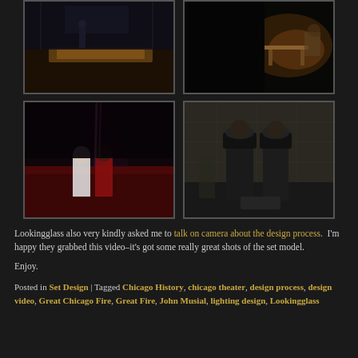[Figure (photo): Top row: two theater stage photos side by side. Left photo shows a performer on a dark stage with a long illuminated floor piece. Right photo shows a dimly lit stage with a table and warm lighting.]
[Figure (photo): Bottom row: two theater stage photos side by side. Left photo shows performers on a red-lit stage, one in costume. Right photo shows two men in dark coats and hats standing face to face on a stone-textured stage.]
Lookingglass also very kindly asked me to talk on camera about the design process.  I'm happy they grabbed this video–it's got some really great shots of the set model.
Enjoy.
Posted in Set Design | Tagged Chicago History, chicago theater, design process, design video, Great Chicago Fire, Great Fire, John Musial, lighting design, Lookingglass